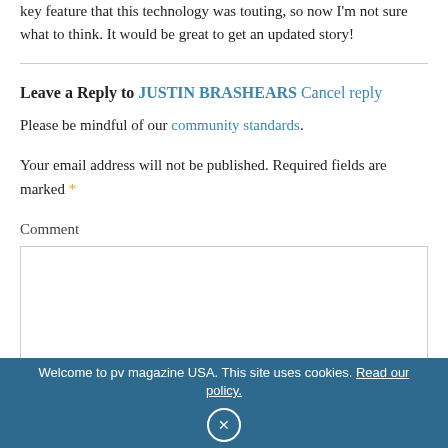key feature that this technology was touting, so now I'm not sure what to think. It would be great to get an updated story!
Leave a Reply to JUSTIN BRASHEARS Cancel reply
Please be mindful of our community standards.
Your email address will not be published. Required fields are marked *
Comment
Welcome to pv magazine USA. This site uses cookies. Read our policy.